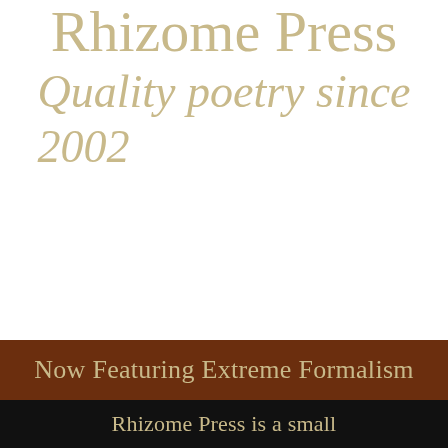Rhizome Press
Quality poetry since 2002
Now Featuring Extreme Formalism
Rhizome Press is a small